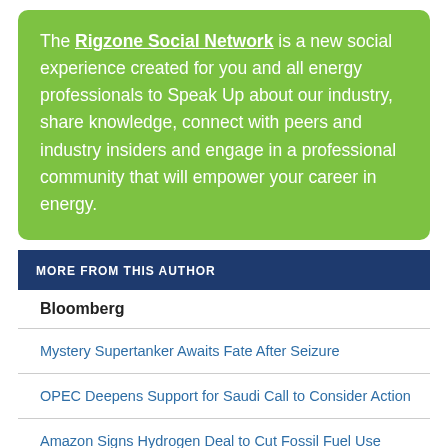The Rigzone Social Network is a new social experience created for you and all energy professionals to Speak Up about our industry, share knowledge, connect with peers and industry insiders and engage in a professional community that will empower your career in energy.
MORE FROM THIS AUTHOR
Bloomberg
Mystery Supertanker Awaits Fate After Seizure
OPEC Deepens Support for Saudi Call to Consider Action
Amazon Signs Hydrogen Deal to Cut Fossil Fuel Use